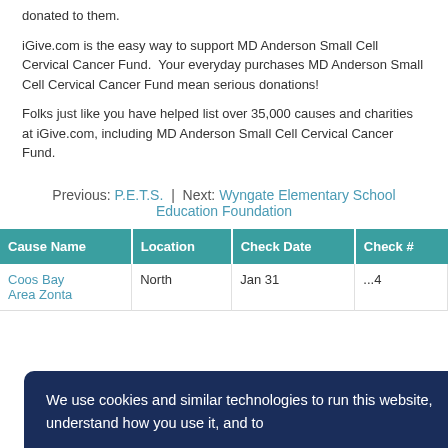donated to them.
iGive.com is the easy way to support MD Anderson Small Cell Cervical Cancer Fund.  Your everyday purchases MD Anderson Small Cell Cervical Cancer Fund mean serious donations!
Folks just like you have helped list over 35,000 causes and charities at iGive.com, including MD Anderson Small Cell Cervical Cancer Fund.
Previous: P.E.T.S. | Next: Wyngate Elementary School Education Foundation
| Cause Name | Location | Check Date | Check # |
| --- | --- | --- | --- |
| Coos Bay Area Zonta | North | Jan 31 | ...4 |
We use cookies and similar technologies to run this website, understand how you use it, and to